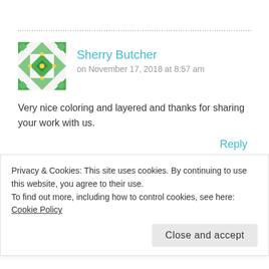[Figure (illustration): Green geometric/mosaic avatar icon for user Sherry Butcher]
Sherry Butcher
on November 17, 2018 at 8:57 am
Very nice coloring and layered and thanks for sharing your work with us.
Reply
[Figure (illustration): Partial green and brown mosaic avatar icon at bottom]
Privacy & Cookies: This site uses cookies. By continuing to use this website, you agree to their use.
To find out more, including how to control cookies, see here: Cookie Policy
Close and accept